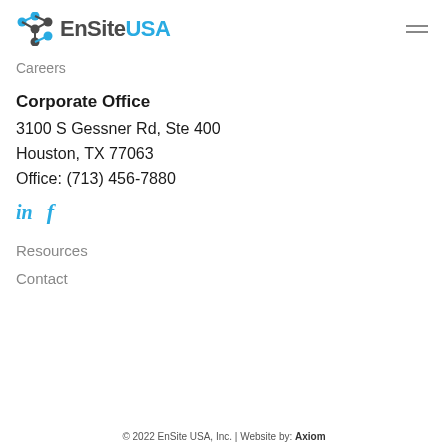[Figure (logo): EnSite USA logo with connected nodes icon on left; 'EnSite' in dark gray bold and 'USA' in cyan/blue, sans-serif font]
[Figure (other): Hamburger menu icon (three horizontal lines) in top right corner]
Careers
Corporate Office
3100 S Gessner Rd, Ste 400
Houston, TX 77063
Office: (713) 456-7880
[Figure (other): Social media icons: LinkedIn 'in' and Facebook 'f' in cyan/blue]
Resources
Contact
© 2022 EnSite USA, Inc. | Website by: Axiom